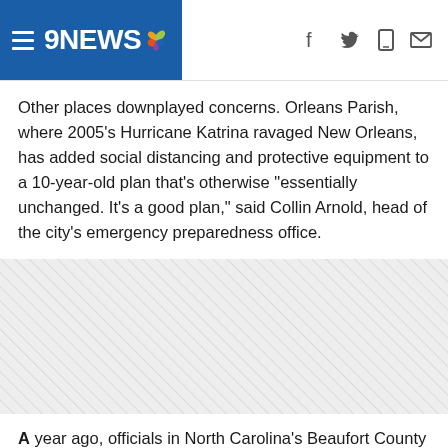9NEWS
Other places downplayed concerns. Orleans Parish, where 2005's Hurricane Katrina ravaged New Orleans, has added social distancing and protective equipment to a 10-year-old plan that's otherwise "essentially unchanged. It's a good plan," said Collin Arnold, head of the city's emergency preparedness office.
[Figure (other): Advertisement placeholder area with diagonal hatching pattern]
A year ago, officials in North Carolina's Beaufort County would have rated their readiness going into hurricane season at a 95 on a 0-to-100 scale. With the virus, that's down to 75. Brad Baker, emergency management director of Florida's Santa Rosa County, gave the same numbers